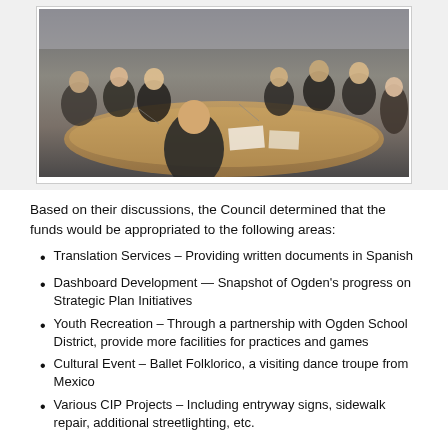[Figure (photo): People seated around a large curved conference table in a meeting room, appearing to be in a council or board meeting.]
Based on their discussions, the Council determined that the funds would be appropriated to the following areas:
Translation Services – Providing written documents in Spanish
Dashboard Development — Snapshot of Ogden's progress on Strategic Plan Initiatives
Youth Recreation – Through a partnership with Ogden School District, provide more facilities for practices and games
Cultural Event – Ballet Folklorico, a visiting dance troupe from Mexico
Various CIP Projects – Including entryway signs, sidewalk repair, additional streetlighting, etc.